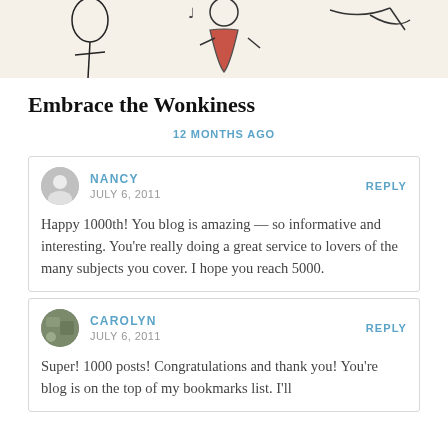[Figure (illustration): Partial sketch/line art illustration showing figures, one in red clothing, with musical note, on a cream/beige background. Top portion of a blog post image.]
Embrace the Wonkiness
12 MONTHS AGO
NANCY
JULY 6, 2011
REPLY
Happy 1000th! You blog is amazing — so informative and interesting. You're really doing a great service to lovers of the many subjects you cover. I hope you reach 5000.
CAROLYN
JULY 6, 2011
REPLY
Super! 1000 posts! Congratulations and thank you! You're blog is on the top of my bookmarks list. I'll